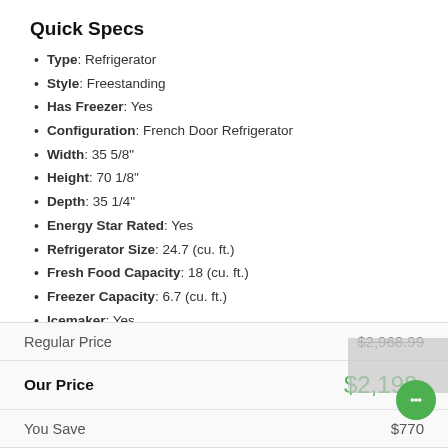Quick Specs
Type: Refrigerator
Style: Freestanding
Has Freezer: Yes
Configuration: French Door Refrigerator
Width: 35 5/8"
Height: 70 1/8"
Depth: 35 1/4"
Energy Star Rated: Yes
Refrigerator Size: 24.7 (cu. ft.)
Fresh Food Capacity: 18 (cu. ft.)
Freezer Capacity: 6.7 (cu. ft.)
Icemaker: Yes
Dispenser: Yes
Counter Depth: No
Sabbath Mode: No
WiFi Connected: No
See More
|  |  |
| --- | --- |
| Regular Price | $2,968.99 |
| Our Price | $2,198... |
| You Save | $770 |